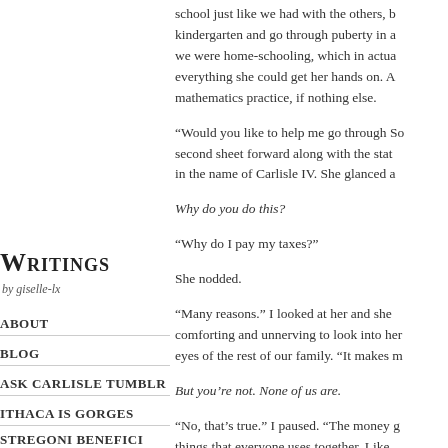school just like we had with the others, b... kindergarten and go through puberty in a... we were home-schooling, which in actua... everything she could get her hands on. A... mathematics practice, if nothing else.
“Would you like to help me go through So... second sheet forward along with the stat... in the name of Carlisle IV. She glanced a...
Why do you do this?
“Why do I pay my taxes?”
She nodded.
“Many reasons.” I looked at her and she ... comforting and unnerving to look into her... eyes of the rest of our family. “It makes m...
But you’re not. None of us are.
“No, that’s true.” I paused. “The money g... things that everyone uses together. Like...
Writings
by giselle-lx
ABOUT
BLOG
ASK CARLISLE TUMBLR
ITHACA IS GORGES
STREGONI BENEFICI
ONE DAY